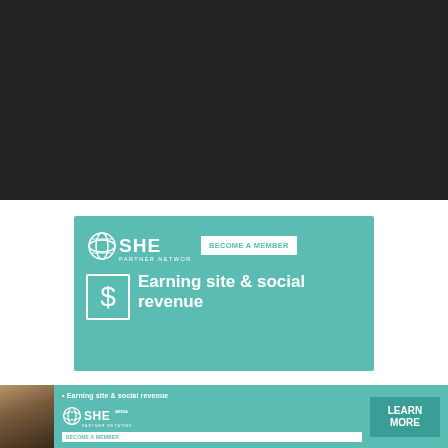[Figure (photo): Large dark/black banner image at the top of the page]
[Figure (infographic): Teal advertisement for SHE Media Partner Network showing 'BECOME A MEMBER' button and text 'Earning site & social revenue' with a dollar sign icon]
[Figure (infographic): Bottom banner ad for SHE Media Partner Network with a woman's photo, text '• Earning site & social revenue', SHE Media logo, 'BECOME A MEMBER' text, and a 'LEARN MORE' button]